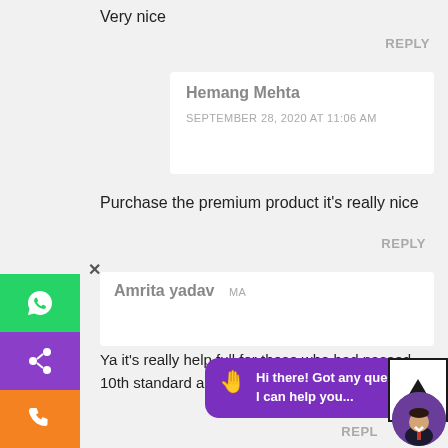Very nice
REPLY
Hemang Mehta
SEPTEMBER 28, 2020 AT 11:06 AM
Purchase the premium product it's really nice
REPLY
Amrita yadav
MA
Ya it's really help full for those who had passed 10th standard and studying 11 12 std
REPLY
[Figure (screenshot): Social sharing sidebar with WhatsApp, share, and phone icons, a close button X, a chat bubble saying 'Hi there! Got any questions? I can help you...', an up arrow button, and a man avatar circle.]